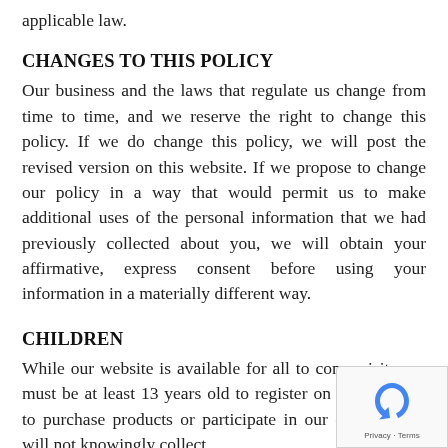applicable law.
CHANGES TO THIS POLICY
Our business and the laws that regulate us change from time to time, and we reserve the right to change this policy. If we do change this policy, we will post the revised version on this website. If we propose to change our policy in a way that would permit us to make additional uses of the personal information that we had previously collected about you, we will obtain your affirmative, express consent before using your information in a materially different way.
CHILDREN
While our website is available for all to come visit, you must be at least 13 years old to register on this website, to purchase products or participate in our contests. We will not knowingly collect